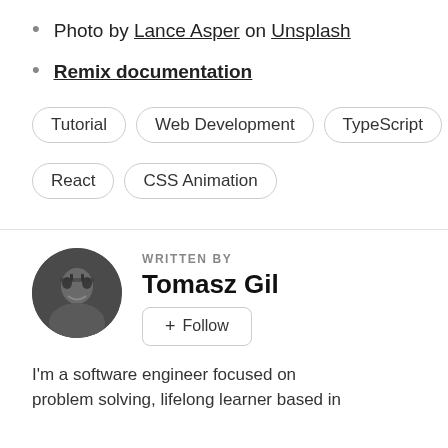Photo by Lance Asper on Unsplash
Remix documentation
Tutorial  Web Development  TypeScript  React  CSS Animation
WRITTEN BY
Tomasz Gil
+ Follow
I'm a software engineer focused on problem solving, lifelong learner based in